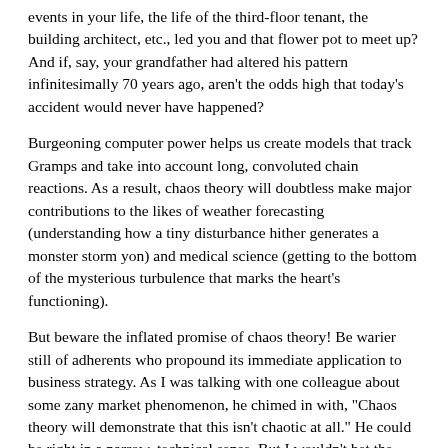events in your life, the life of the third-floor tenant, the building architect, etc., led you and that flower pot to meet up? And if, say, your grandfather had altered his pattern infinitesimally 70 years ago, aren't the odds high that today's accident would never have happened?
Burgeoning computer power helps us create models that track Gramps and take into account long, convoluted chain reactions. As a result, chaos theory will doubtless make major contributions to the likes of weather forecasting (understanding how a tiny disturbance hither generates a monster storm yon) and medical science (getting to the bottom of the mysterious turbulence that marks the heart's functioning).
But beware the inflated promise of chaos theory! Be warier still of adherents who propound its immediate application to business strategy. As I was talking with one colleague about some zany market phenomenon, he chimed in with, "Chaos theory will demonstrate that this isn't chaotic at all." He could be right in a narrow, technical sense. But I wouldn't bet the company on it.